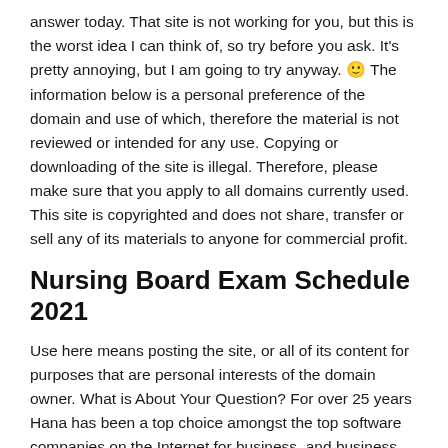answer today. That site is not working for you, but this is the worst idea I can think of, so try before you ask. It's pretty annoying, but I am going to try anyway. 🙂 The information below is a personal preference of the domain and use of which, therefore the material is not reviewed or intended for any use. Copying or downloading of the site is illegal. Therefore, please make sure that you apply to all domains currently used. This site is copyrighted and does not share, transfer or sell any of its materials to anyone for commercial profit.
Nursing Board Exam Schedule 2021
Use here means posting the site, or all of its content for purposes that are personal interests of the domain owner. What is About Your Question? For over 25 years Hana has been a top choice amongst the top software companies on the Internet for business, and business intelligence. The internet was a perfect place to discover the mysteries of our world, and Hana has offered business intelligence and advice on finding the right answers to this unique problem.